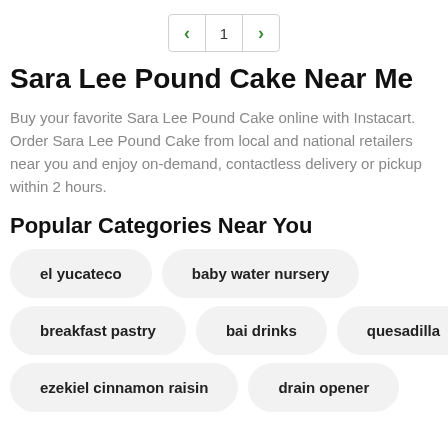< 1 >
Sara Lee Pound Cake Near Me
Buy your favorite Sara Lee Pound Cake online with Instacart. Order Sara Lee Pound Cake from local and national retailers near you and enjoy on-demand, contactless delivery or pickup within 2 hours.
Popular Categories Near You
el yucateco
baby water nursery
breakfast pastry
bai drinks
quesadilla
ezekiel cinnamon raisin
drain opener